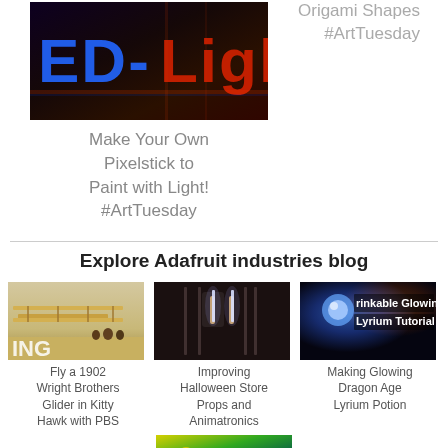Origami Shapes #ArtTuesday
[Figure (photo): LED light display showing colorful illuminated text in red and blue]
Make Your Own Pixelstick to Paint with Light! #ArtTuesday
Explore Adafruit industries blog
[Figure (photo): 1902 Wright Brothers Glider in Kitty Hawk with PBS, biplane on beach]
[Figure (photo): Improving Halloween Store Props and Animatronics, dark scene with person holding glowing rods]
[Figure (photo): Drinkable Glowing Lyrium Tutorial - glowing blue potion]
Fly a 1902 Wright Brothers Glider in Kitty Hawk with PBS
Improving Halloween Store Props and Animatronics
Making Glowing Dragon Age Lyrium Potion
[Figure (photo): Partial image of another article at bottom of page]